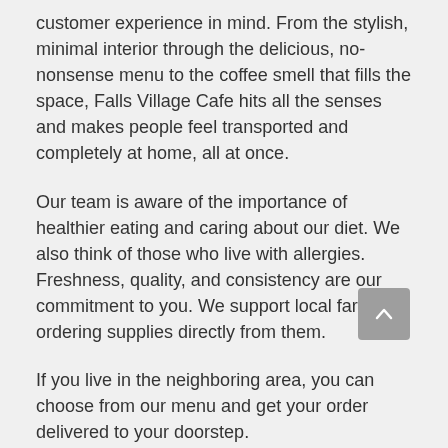customer experience in mind. From the stylish, minimal interior through the delicious, no-nonsense menu to the coffee smell that fills the space, Falls Village Cafe hits all the senses and makes people feel transported and completely at home, all at once.
Our team is aware of the importance of healthier eating and caring about our diet. We also think of those who live with allergies. Freshness, quality, and consistency are our commitment to you. We support local farms by ordering supplies directly from them.
If you live in the neighboring area, you can choose from our menu and get your order delivered to your doorstep.